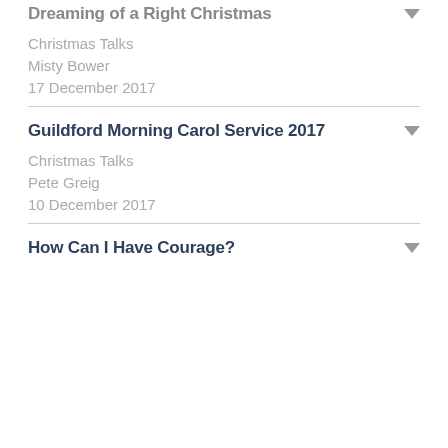Dreaming of a Right Christmas
Christmas Talks
Misty Bower
17 December 2017
Guildford Morning Carol Service 2017
Christmas Talks
Pete Greig
10 December 2017
How Can I Have Courage?